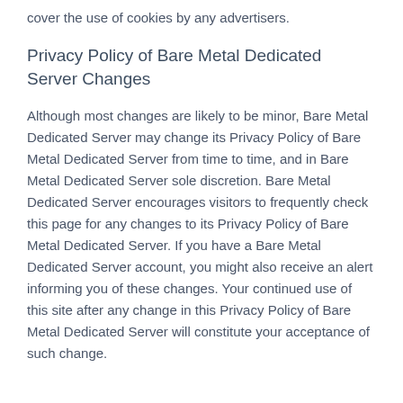cover the use of cookies by any advertisers.
Privacy Policy of Bare Metal Dedicated Server Changes
Although most changes are likely to be minor, Bare Metal Dedicated Server may change its Privacy Policy of Bare Metal Dedicated Server from time to time, and in Bare Metal Dedicated Server sole discretion. Bare Metal Dedicated Server encourages visitors to frequently check this page for any changes to its Privacy Policy of Bare Metal Dedicated Server. If you have a Bare Metal Dedicated Server account, you might also receive an alert informing you of these changes. Your continued use of this site after any change in this Privacy Policy of Bare Metal Dedicated Server will constitute your acceptance of such change.